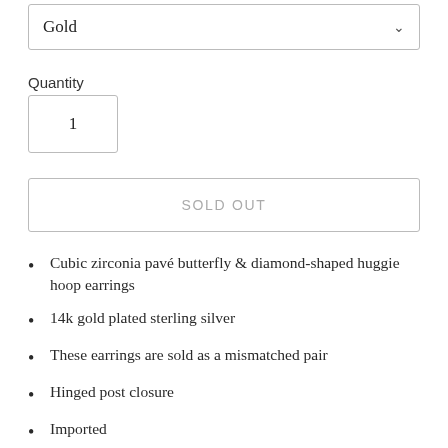Gold
Quantity
1
SOLD OUT
Cubic zirconia pavé butterfly & diamond-shaped huggie hoop earrings
14k gold plated sterling silver
These earrings are sold as a mismatched pair
Hinged post closure
Imported
Care Instructions: